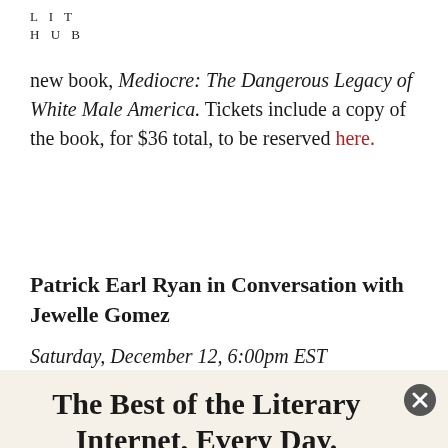LIT
HUB
new book, Mediocre: The Dangerous Legacy of White Male America. Tickets include a copy of the book, for $36 total, to be reserved here.
Patrick Earl Ryan in Conversation with Jewelle Gomez
Saturday, December 12, 6:00pm EST
The Best of the Literary Internet, Every Day.
Top literature stories from over 200 sources.